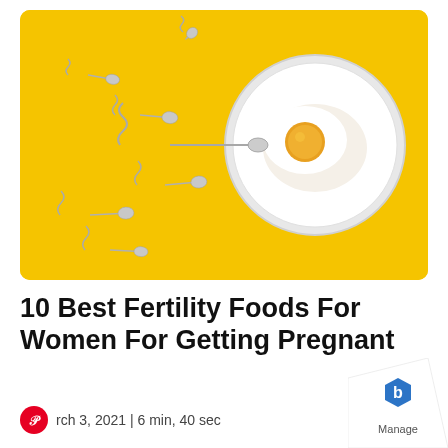[Figure (photo): Spoons arranged to look like sperm cells swimming toward a white plate with a fried egg on a yellow background, illustrating fertility concept.]
10 Best Fertility Foods For Women For Getting Pregnant
March 3, 2021 | 6 min, 40 sec
[Figure (logo): Manage logo — hexagon shape with letter b, with a curled page corner effect in the bottom right.]